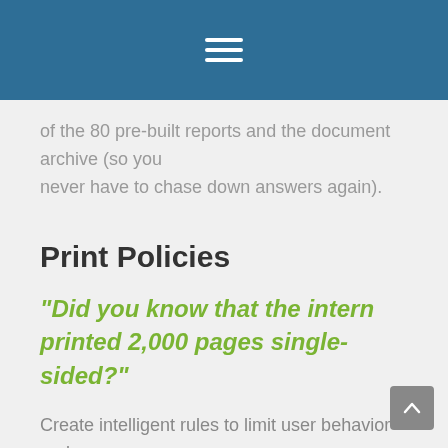[navigation bar with hamburger menu]
of the 80 pre-built reports and the document archive (so you never have to chase down answers again).
Print Policies
"Did you know that the intern printed 2,000 pages single-sided?"
Create intelligent rules to limit user behavior and enforce sensible printing policies. Use pre-built filters to fix simple problems like removing jobs, encourage double-sided printing or create your own